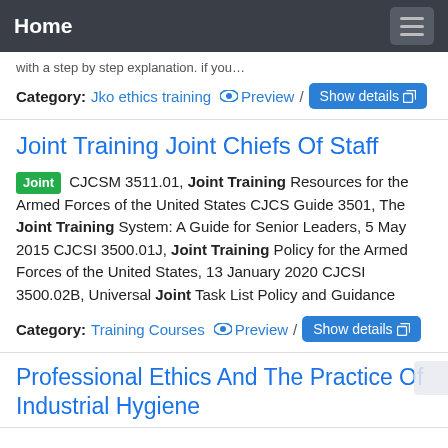Home
with a step by step explanation. If you…
Category: Jko ethics training   Preview /   Show details
Joint Training Joint Chiefs Of Staff
Joint CJCSM 3511.01, Joint Training Resources for the Armed Forces of the United States CJCS Guide 3501, The Joint Training System: A Guide for Senior Leaders, 5 May 2015 CJCSI 3500.01J, Joint Training Policy for the Armed Forces of the United States, 13 January 2020 CJCSI 3500.02B, Universal Joint Task List Policy and Guidance
Category: Training Courses   Preview /   Show details
Professional Ethics And The Practice Of Industrial Hygiene